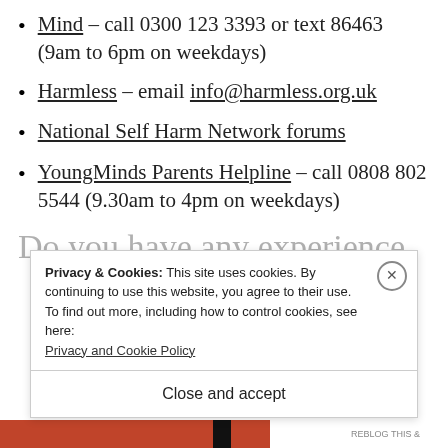Mind – call 0300 123 3393 or text 86463 (9am to 6pm on weekdays)
Harmless – email info@harmless.org.uk
National Self Harm Network forums
YoungMinds Parents Helpline – call 0808 802 5544 (9.30am to 4pm on weekdays)
Do you have any experience
Privacy & Cookies: This site uses cookies. By continuing to use this website, you agree to their use.
To find out more, including how to control cookies, see here: Privacy and Cookie Policy
Close and accept